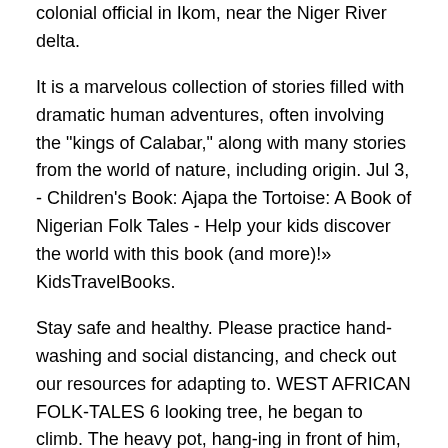colonial official in Ikom, near the Niger River delta.
It is a marvelous collection of stories filled with dramatic human adventures, often involving the "kings of Calabar," along with many stories from the world of nature, including origin. Jul 3, - Children's Book: Ajapa the Tortoise: A Book of Nigerian Folk Tales - Help your kids discover the world with this book (and more)!» KidsTravelBooks.
Stay safe and healthy. Please practice hand-washing and social distancing, and check out our resources for adapting to. WEST AFRICAN FOLK-TALES 6 looking tree, he began to climb. The heavy pot, hang-ing in front of him, made hi s ascent almost impossible.
Again and again he tried to reach the top of the tree, where he intended to hang the pot. There, he thought, Wisdom would indeed be beyond the reach of every one but himself. He was unable, however, to carry out. polygamous marriage system. The tales are faithful to the concep-tion of the universe in Nigerian folklore, which holds that the worlds of the living and the spirits are very close, the boundary almost nonexistent, and that communication and traffic between the two worlds are not only possible but frequent.